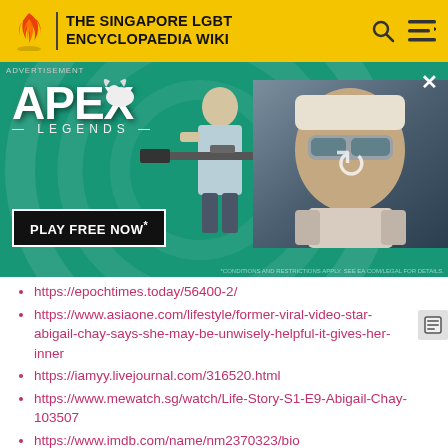THE SINGAPORE LGBT ENCYCLOPAEDIA WIKI
[Figure (photo): Apex Legends advertisement banner showing a character with a sniper rifle on a teal/green background with 'PLAY FREE NOW' button and overlapping image of another character]
https://epochtimes.today/56400-2/
https://www.asiaone.com/lifestyle/former-viral-video-star-abigail-chay-says-she-may-be-unwisely-helpful-it-gives-her-inner
https://iamyy.livejournal.com/316520.html
https://www.mewatch.sg/watch/Life-Story-S1-E9-Abigail-Chay-103507
https://www.imdb.com/name/nm2370323/bio
https://www.straitstimes.com/lifestyle/entertainmen